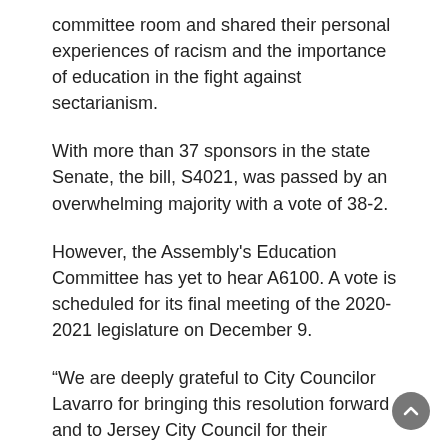committee room and shared their personal experiences of racism and the importance of education in the fight against sectarianism.
With more than 37 sponsors in the state Senate, the bill, S4021, was passed by an overwhelming majority with a vote of 38-2.
However, the Assembly's Education Committee has yet to hear A6100. A vote is scheduled for its final meeting of the 2020-2021 legislature on December 9.
“We are deeply grateful to City Councilor Lavarro for bringing this resolution forward and to Jersey City Council for their unanimous support for the AAPI Curriculum Bill S4021 / A6100,” said Dr. Kani Ilangoven of Make Us Visible NJ. “We believe it is vital to focus on prevention and education in highlighting how Asian Americans and Pacific Islanders have been and continue to be an integral part of this country.”
said Jennie Jonson of Jersey City AAPI Coalition“The inclusion of AAPI studies in the curriculum of our public schools is long overdue. We are pleased that the leaders of Jersey City and Hudson County